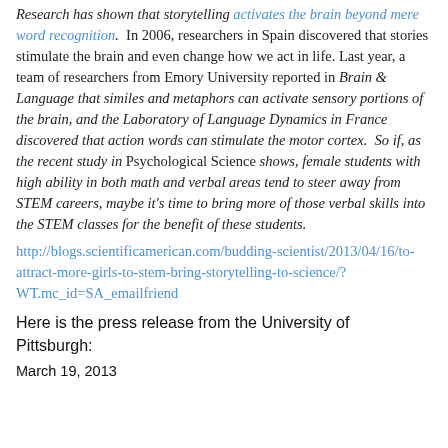Research has shown that storytelling activates the brain beyond mere word recognition.  In 2006, researchers in Spain discovered that stories stimulate the brain and even change how we act in life. Last year, a team of researchers from Emory University reported in Brain & Language that similes and metaphors can activate sensory portions of the brain, and the Laboratory of Language Dynamics in France discovered that action words can stimulate the motor cortex.  So if, as the recent study in Psychological Science shows, female students with high ability in both math and verbal areas tend to steer away from STEM careers, maybe it's time to bring more of those verbal skills into the STEM classes for the benefit of these students.
http://blogs.scientificamerican.com/budding-scientist/2013/04/16/to-attract-more-girls-to-stem-bring-storytelling-to-science/?WT.mc_id=SA_emailfriend
Here is the press release from the University of Pittsburgh:
March 19, 2013